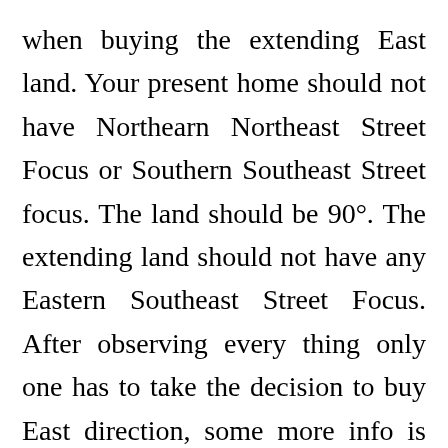when buying the extending East land. Your present home should not have Northearn Northeast Street Focus or Southern Southeast Street focus. The land should be 90°. The extending land should not have any Eastern Southeast Street Focus. After observing every thing only one has to take the decision to buy East direction, some more info is available at east (East vastu) link. We are continuously providing appropriate information in all these links. Please check this link West facing house